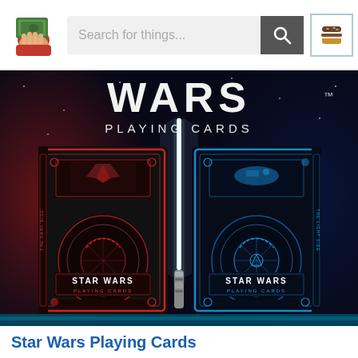[Figure (screenshot): Website header with logo (hand holding money), search bar with text 'Search for things...', search button, and hamburger menu button]
[Figure (photo): Star Wars Playing Cards product image showing two card decks (red dark side and blue light side) with a lightsaber between them against a space background. Text reads 'STAR WARS PLAYING CARDS' at the top.]
Star Wars Playing Cards